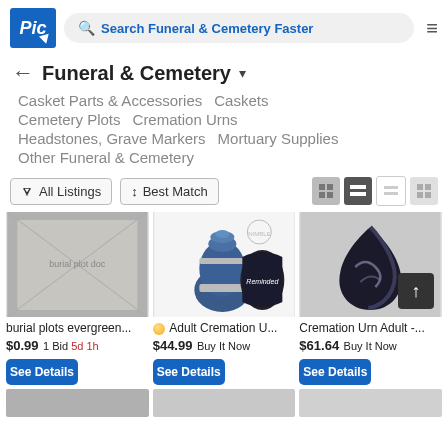Search Funeral & Cemetery Faster
Funeral & Cemetery
Casket Parts & Accessories
Caskets
Cemetery Plots
Cremation Urns
Headstones, Grave Markers
Mortuary Supplies
Other Funeral & Cemetery
All Listings | Best Match
[Figure (photo): Burial plot document/photo]
burial plots evergreen...
$0.99 1 Bid 5d 1h
[Figure (photo): Blue adult cremation urn with black velvet pouch]
Adult Cremation U...
$44.99 Buy It Now
[Figure (photo): Black cremation urn adult teardrop shape]
Cremation Urn Adult -...
$61.64 Buy It Now